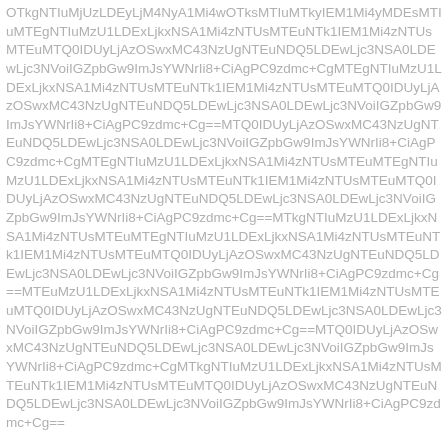OTkgNTIuMjUzLDEyLjM4NyA1Mi4wOTksMTIuMTkyIEM1Mi4yMDEsMTIuMTEgNTIuMzU1LDExLjkxNSA1Mi4zNTUsMTEuNTk1IEM1Mi4zNTUsMTEuMTQ0IDUyLjAzOSwxMC43NzUgNTEuNDQ5LDEwLjc3NSA0LDEwLjc3NVoiIGZpbGw9ImJsYWNrIi8+CiAgPC9zdmc+Cg==